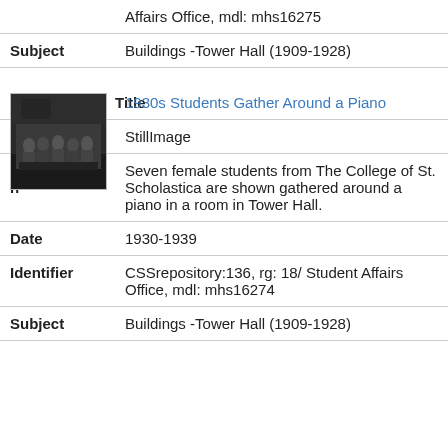Affairs Office, mdl: mhs16275
| Field | Value |
| --- | --- |
| Subject | Buildings -Tower Hall (1909-1928) |
| Title | 1930s Students Gather Around a Piano |
| Type | StillImage |
| Description | Seven female students from The College of St. Scholastica are shown gathered around a piano in a room in Tower Hall. |
| Date | 1930-1939 |
| Identifier | CSSrepository:136, rg: 18/ Student Affairs Office, mdl: mhs16274 |
| Subject | Buildings -Tower Hall (1909-1928) |
[Figure (photo): Small black and white thumbnail photo of students gathered around a piano]